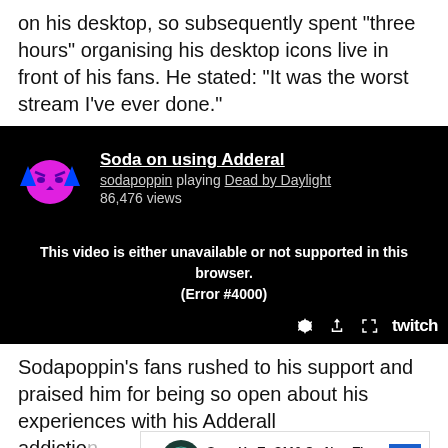on his desktop, so subsequently spent "three hours" organising his desktop icons live in front of his fans. He stated: "It was the worst stream I've ever done."
[Figure (screenshot): Twitch embed player showing 'Soda on using Adderal' by sodapoppin playing Dead by Daylight, 86,476 views. Error message: This video is either unavailable or not supported in this browser. (Error #4000). Twitch logo and controls visible at bottom right.]
Sodapoppin's fans rushed to his support and praised him for being so open about his experiences with his Adderall addiction [truncated] tion in the bud [truncated] rs a